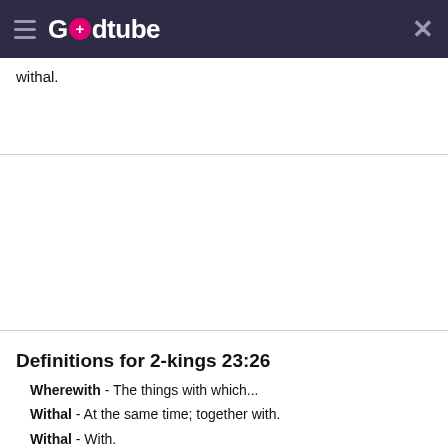Godtube
withal.
Definitions for 2-kings 23:26
Wherewith - The things with which...
Withal - At the same time; together with.
Withal - With.